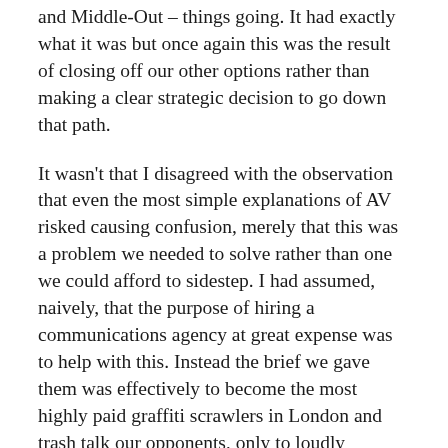and Middle-Out – things going. It had exactly what it was but once again this was the result of closing off our other options rather than making a clear strategic decision to go down that path.
It wasn't that I disagreed with the observation that even the most simple explanations of AV risked causing confusion, merely that this was a problem we needed to solve rather than one we could afford to sidestep. I had assumed, naively, that the purpose of hiring a communications agency at great expense was to help with this. Instead the brief we gave them was effectively to become the most highly paid graffiti scrawlers in London and trash talk our opponents, only to loudly complain when they failed to come up with anything useable.
Convinced that we badly needed strong online content for the campaign, my only recourse was to beg volunteers to produce material and hope they would deliver. Even then I didn't get theoint where I could have officially cleared for